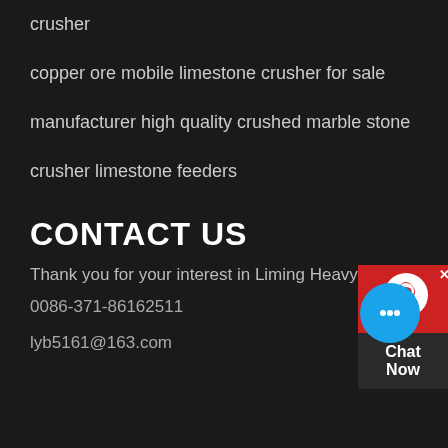crusher
copper ore mobile limestone crusher for sale
manufacturer high quality crushed marble stone
crusher limestone feeders
CONTACT US
Thank you for your interest in Liming Heavy Industry.
0086-371-86162511
lyb5161@163.com
[Figure (other): Live chat widget with red background, headset icon, and Chat Now label]
[Figure (other): Blue circular chat button with speech bubble dots icon]